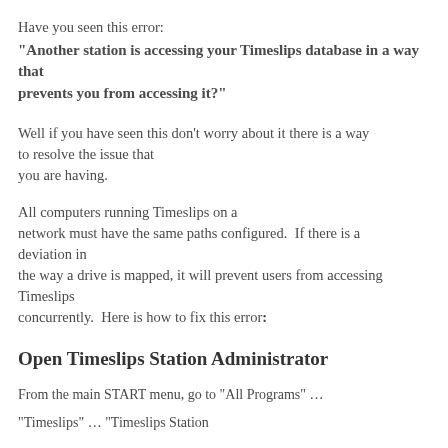Have you seen this error:
“Another station is accessing your Timeslips database in a way that prevents you from accessing it?”
Well if you have seen this don’t worry about it there is a way to resolve the issue that you are having.
All computers running Timeslips on a network must have the same paths configured.  If there is a deviation in the way a drive is mapped, it will prevent users from accessing Timeslips concurrently.  Here is how to fix this error:
Open Timeslips Station Administrator
From the main START menu, go to “All Programs” …
“Timeslips” … “Timeslips Station